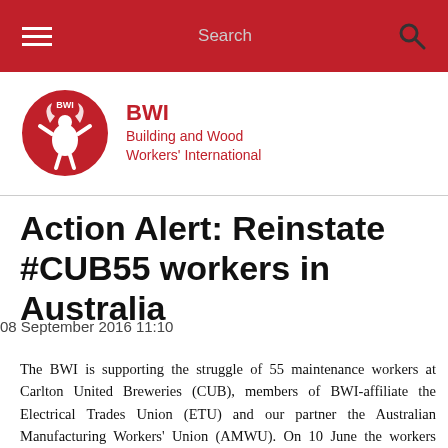Search
[Figure (logo): BWI Building and Wood Workers' International logo — red circle with stylized figure and flames, accompanied by red text 'BWI Building and Wood Workers' International']
Action Alert: Reinstate #CUB55 workers in Australia
08 September 2016 11:10
The BWI is supporting the struggle of 55 maintenance workers at Carlton United Breweries (CUB), members of BWI-affiliate the Electrical Trades Union (ETU) and our partner the Australian Manufacturing Workers' Union (AMWU). On 10 June the workers were unceremoniously sacked by CUB, while secretly-recruited temporary workers that were flown in from